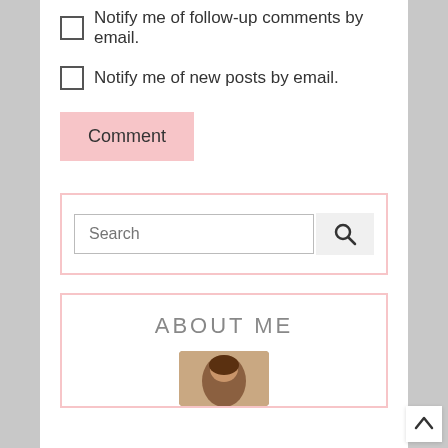Notify me of follow-up comments by email.
Notify me of new posts by email.
Comment
[Figure (screenshot): Search bar with input field and search button]
ABOUT ME
[Figure (photo): Small avatar photo of a person]